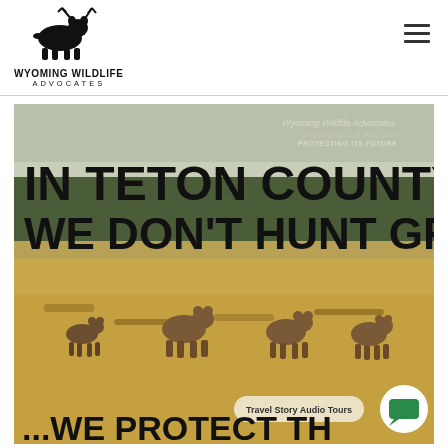[Figure (logo): Wyoming Wildlife Advocates logo with silhouette of bear and antlers, black on white]
WYOMING WILDLIFE ADVOCATES
[Figure (photo): Hero image showing grizzly bears walking through golden meadow with forest in background. Overlay text reads: Wyoming Wildlife Advocates - CONSERVING OUR WILD LEGACY PROTECTING ITS FUTURE. Large bold headline: IN TETON COUNTY WE DON'T HUNT GRIZZLIES... and at bottom ...WE PROTECT TH[EM]. A Travel Story Audio Tours button and chat bubble icon visible.]